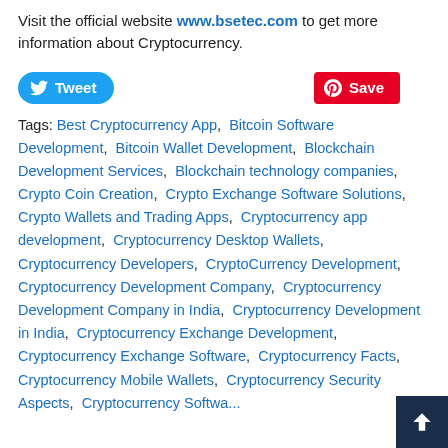Visit the official website www.bsetec.com to get more information about Cryptocurrency.
[Figure (other): Tweet and Save social sharing buttons]
Tags: Best Cryptocurrency App, Bitcoin Software Development, Bitcoin Wallet Development, Blockchain Development Services, Blockchain technology companies, Crypto Coin Creation, Crypto Exchange Software Solutions, Crypto Wallets and Trading Apps, Cryptocurrency app development, Cryptocurrency Desktop Wallets, Cryptocurrency Developers, CryptoCurrency Development, Cryptocurrency Development Company, Cryptocurrency Development Company in India, Cryptocurrency Development in India, Cryptocurrency Exchange Development, Cryptocurrency Exchange Software, Cryptocurrency Facts, Cryptocurrency Mobile Wallets, Cryptocurrency Security Aspects, Cryptocurrency Software Development, Cryptocurrency Technology Development Cryptocurrency Development Services, Cryptocurrency Wallet App, Cryptocurrency Wallet Development, Cryptocurrency Wallet Hardware, Cryptocurrency Wallets